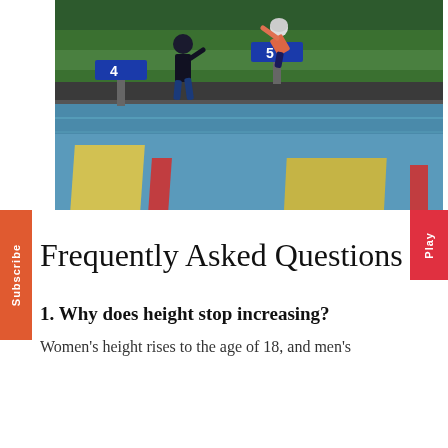[Figure (photo): Outdoor swimming pool with lane dividers (yellow and red floats). A swimmer on a starting block (lane 5) preparing to dive, and a coach walking nearby. Green hedge visible in background.]
Frequently Asked Questions
1. Why does height stop increasing?
Women's height rises to the age of 18, and men's